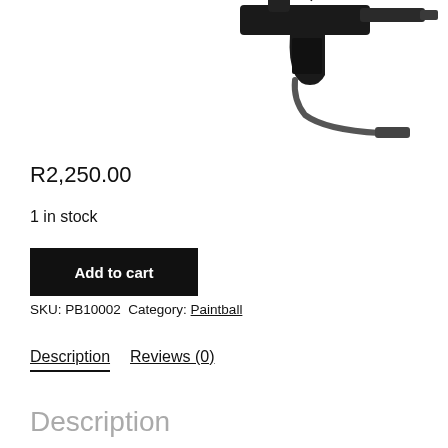[Figure (photo): Black paintball gun/marker with hose attachment, photographed on white background, partially cropped at top]
R2,250.00
1 in stock
Add to cart
SKU: PB10002 Category: Paintball
Description    Reviews (0)
Description